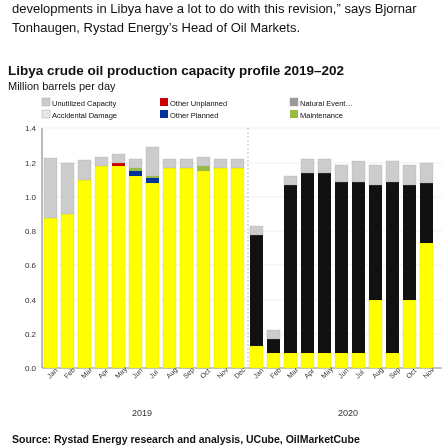developments in Libya have a lot to do with this revision, says Bjornar Tonhaugen, Rystad Energy's Head of Oil Markets.
[Figure (stacked-bar-chart): Libya crude oil production capacity profile 2019-2020]
Source: Rystad Energy research and analysis, UCube, OilMarketCube